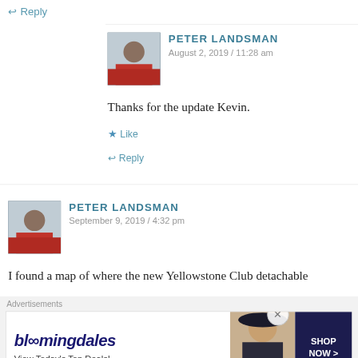↩ Reply
[Figure (photo): Avatar photo of Peter Landsman in red jacket]
PETER LANDSMAN
August 2, 2019 / 11:28 am
Thanks for the update Kevin.
★ Like
↩ Reply
[Figure (photo): Avatar photo of Peter Landsman in red jacket]
PETER LANDSMAN
September 9, 2019 / 4:32 pm
I found a map of where the new Yellowstone Club detachable
Advertisements
[Figure (other): Bloomingdale's advertisement banner: 'bloomingdales View Today's Top Deals! SHOP NOW >']